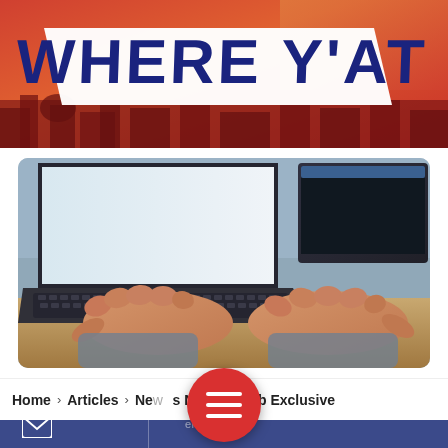[Figure (logo): WHERE Y'AT logo in dark blue bold text on a white angled ribbon banner over a red/orange city skyline background]
[Figure (photo): Close-up photograph of hands typing on a laptop keyboard, with a monitor screen visible in the background]
Home > Articles > New... s News > Web Exclusive
[Figure (other): Red circular hamburger menu button with three white horizontal lines]